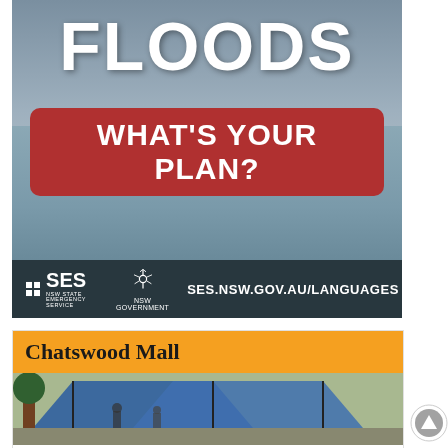[Figure (photo): Flood awareness poster by NSW SES showing flooded residential area with text 'FLOODS WHAT'S YOUR PLAN?' and logos of NSW SES and NSW Government, with URL ses.nsw.gov.au/languages]
Chatswood Mall
[Figure (photo): Outdoor community stall or information tent with blue canopy at Chatswood Mall]